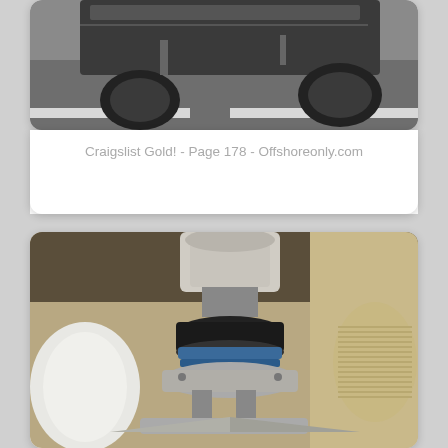[Figure (photo): A vehicle photographed from below or at ground level, showing the undercarriage and tires on a road surface with white lane markings.]
Craigslist Gold! - Page 178 - Offshoreonly.com
[Figure (photo): Close-up photo of industrial or scientific machinery, showing a complex mechanical assembly with metallic components, cylindrical parts, and what appears to be a precision instrument or manufacturing device.]